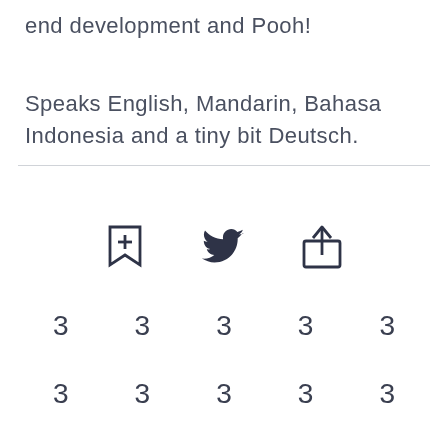end development and Pooh!
Speaks English, Mandarin, Bahasa Indonesia and a tiny bit Deutsch.
[Figure (infographic): Three icons: bookmark-plus, Twitter bird, and share/upload icon]
3   3   3   3   3
3   3   3   3   3